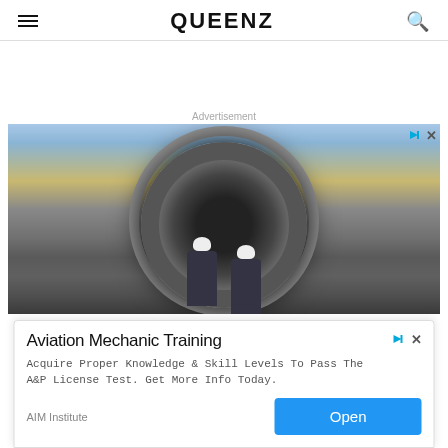QUEENZ
Advertisement
[Figure (photo): Two workers in hard hats and blue jumpsuits standing in front of a large jet engine on an aircraft, viewed from the front, on an airport tarmac. The engine nacelle fills most of the frame.]
Get the Training for a Career in Aviation Mechanics. Airframe & Powerplant. Call
[Figure (infographic): Mini advertisement overlay: Aviation Mechanic Training. Acquire Proper Knowledge & Skill Levels To Pass The A&P License Test. Get More Info Today. AIM Institute. Open button.]